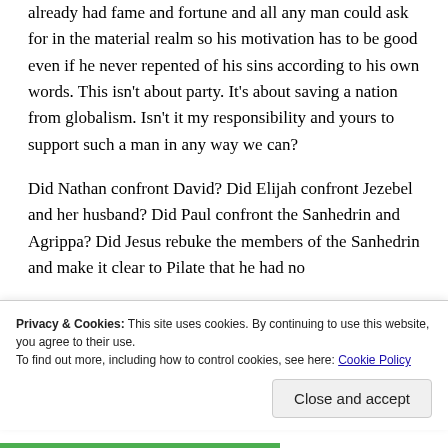already had fame and fortune and all any man could ask for in the material realm so his motivation has to be good even if he never repented of his sins according to his own words. This isn't about party. It's about saving a nation from globalism. Isn't it my responsibility and yours to support such a man in any way we can?
Did Nathan confront David? Did Elijah confront Jezebel and her husband? Did Paul confront the Sanhedrin and Agrippa? Did Jesus rebuke the members of the Sanhedrin and make it clear to Pilate that he had no
Privacy & Cookies: This site uses cookies. By continuing to use this website, you agree to their use. To find out more, including how to control cookies, see here: Cookie Policy
Close and accept